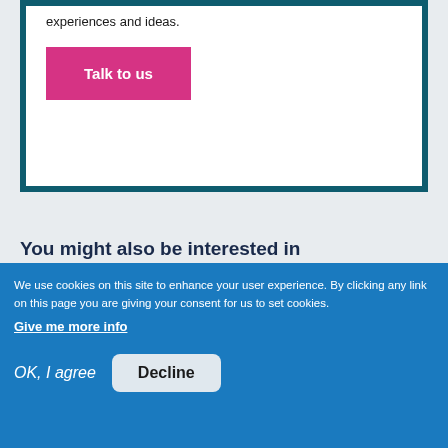experiences and ideas.
Talk to us
You might also be interested in
[Figure (photo): Partial image strip visible at bottom of middle section]
We use cookies on this site to enhance your user experience. By clicking any link on this page you are giving your consent for us to set cookies.
Give me more info
OK, I agree
Decline